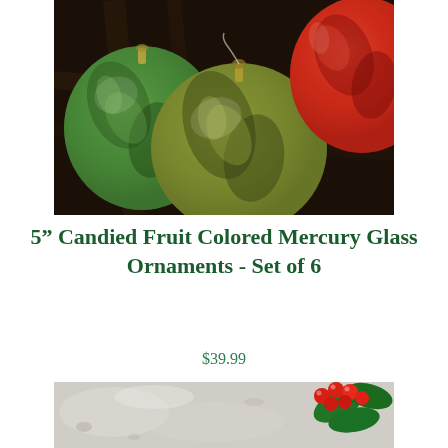[Figure (photo): Close-up photograph of green and gold mercury glass Christmas ornaments on a dark wooden surface, with a red ornament partially visible in the upper right corner.]
5” Candied Fruit Colored Mercury Glass Ornaments - Set of 6
$39.99
[Figure (photo): Partial photograph showing a snowy/frosted surface with red holly berries and green holly leaves in the lower right corner.]